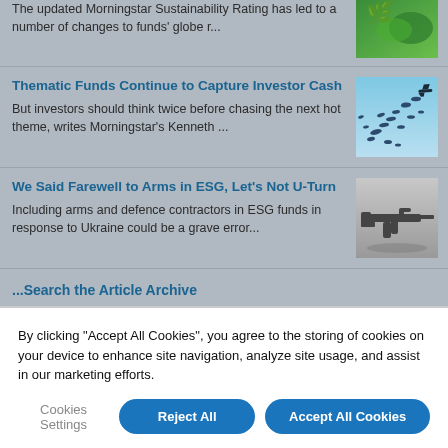The updated Morningstar Sustainability Rating has led to a number of changes to funds' globe r...
[Figure (photo): Green leaf/sustainability themed thumbnail image]
Thematic Funds Continue to Capture Investor Cash
But investors should think twice before chasing the next hot theme, writes Morningstar's Kenneth ...
[Figure (photo): Birds in flight against blue sky thumbnail image]
We Said Farewell to Arms in ESG, Let's Not U-Turn
Including arms and defence contractors in ESG funds in response to Ukraine could be a grave error...
[Figure (photo): Assault rifle / military weapon thumbnail image]
...Search the Article Archive
By clicking “Accept All Cookies”, you agree to the storing of cookies on your device to enhance site navigation, analyze site usage, and assist in our marketing efforts.